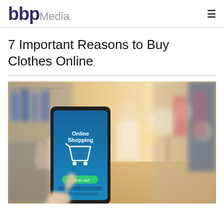bbpMedia
7 Important Reasons to Buy Clothes Online
[Figure (photo): Person holding a smartphone displaying an 'Online Shopping' app with a shopping cart icon, blurred clothing store interior in the background.]